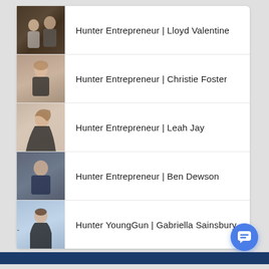Hunter Entrepreneur | Lloyd Valentine
Hunter Entrepreneur | Christie Foster
Hunter Entrepreneur | Leah Jay
Hunter Entrepreneur | Ben Dewson
Hunter YoungGun | Gabriella Sainsbury
-